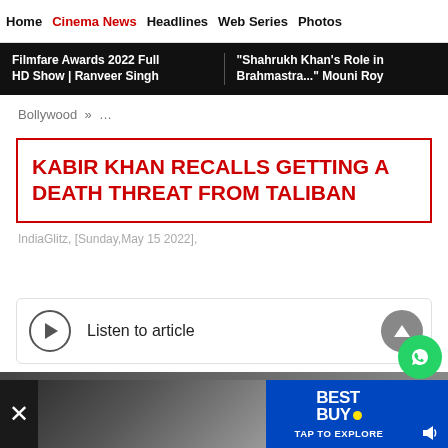Home | Cinema News | Headlines | Web Series | Photos
Filmfare Awards 2022 Full HD Show | Ranveer Singh | "Shahrukh Khan's Role in Brahmastra..." Mouni Roy
Bollywood » ...
KABIR KHAN RECALLS GETTING A DEATH THREAT FROM TALIBAN
IndiaGlitz, [Sunday,May 15 2022],
Listen to article